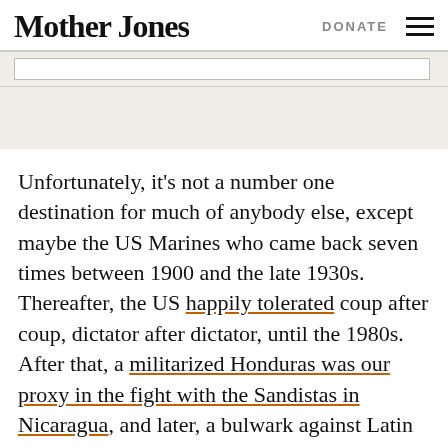Mother Jones  DONATE
Unfortunately, it's not a number one destination for much of anybody else, except maybe the US Marines who came back seven times between 1900 and the late 1930s. Thereafter, the US happily tolerated coup after coup, dictator after dictator, until the 1980s. After that, a militarized Honduras was our proxy in the fight with the Sandistas in Nicaragua, and later, a bulwark against Latin America's pink populists. USAID spends about $50M a year in Honduras while the country languishes in